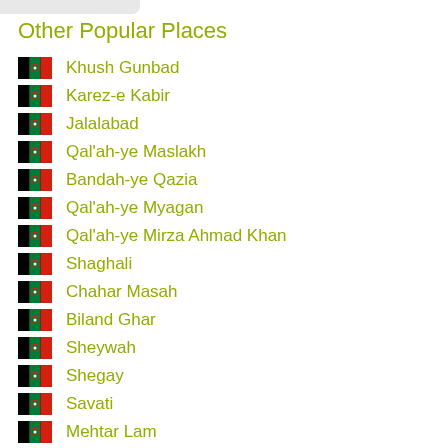Other Popular Places
Khush Gunbad
Karez-e Kabir
Jalalabad
Qal'ah-ye Maslakh
Bandah-ye Qazia
Qal'ah-ye Myagan
Qal'ah-ye Mirza Ahmad Khan
Shaghali
Chahar Masah
Biland Ghar
Sheywah
Shegay
Savati
Mehtar Lam
Khost
Kabul